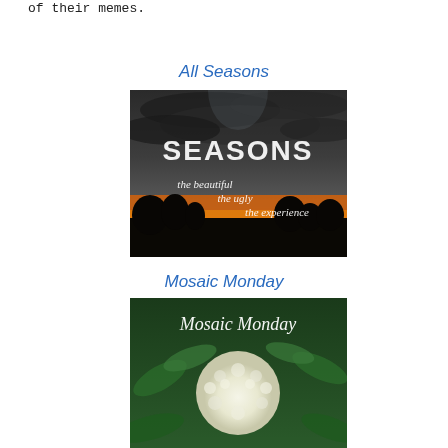of their memes.
All Seasons
[Figure (photo): Photo showing a dramatic sunset sky with dark storm clouds, silhouetted trees along the horizon, and an orange/golden glow. Text overlay reads: 'SEASONS' in large letters, and below 'the beautiful', 'the ugly', 'the experience' in italic script.]
Mosaic Monday
[Figure (photo): Photo showing a large white fluffy flower (possibly a Banksia or similar) against a green leafy background, with cursive text overlay reading 'Mosaic Monday'.]